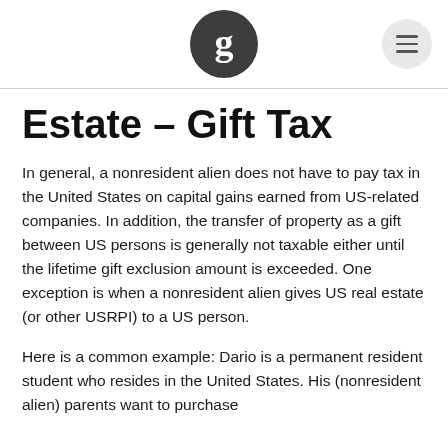[Figure (logo): Circular dark gray logo with white letter g in serif font, positioned center-top of page header. A light gray circular menu/hamburger button in the top right corner.]
Estate – Gift Tax
In general, a nonresident alien does not have to pay tax in the United States on capital gains earned from US-related companies. In addition, the transfer of property as a gift between US persons is generally not taxable either until the lifetime gift exclusion amount is exceeded. One exception is when a nonresident alien gives US real estate (or other USRPI) to a US person.
Here is a common example: Dario is a permanent resident student who resides in the United States. His (nonresident alien) parents want to purchase